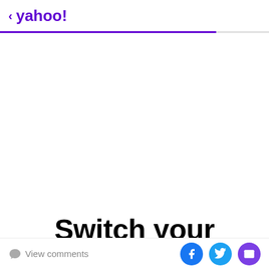< yahoo!
[Figure (other): Advertisement / blank white area]
Switch your
Wilson said the biggest problem in the situation is the decision by long-time Gibbs/Busch partner M&Ms/Mars
View comments | Facebook share | Twitter share | Email share